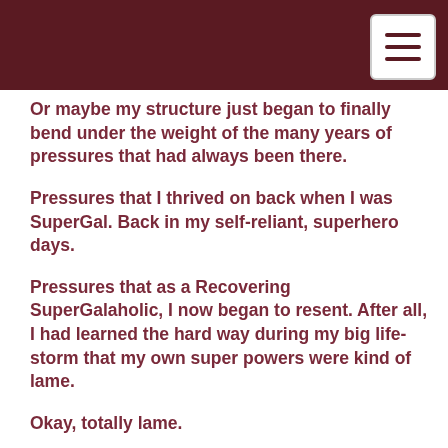Or maybe my structure just began to finally bend under the weight of the many years of pressures that had always been there.
Pressures that I thrived on back when I was SuperGal. Back in my self-reliant, superhero days.
Pressures that as a Recovering SuperGalaholic, I now began to resent. After all, I had learned the hard way during my big life-storm that my own super powers were kind of lame.
Okay, totally lame.
Family treasures fell into the rubble. We lost our much-loved sister, Kelly Adams, to cancer. Quickly and quite unexpectedly. Along with grief over her loss came another pressure—the realization that life here only lasts so long. No guarantees of tomorrow.